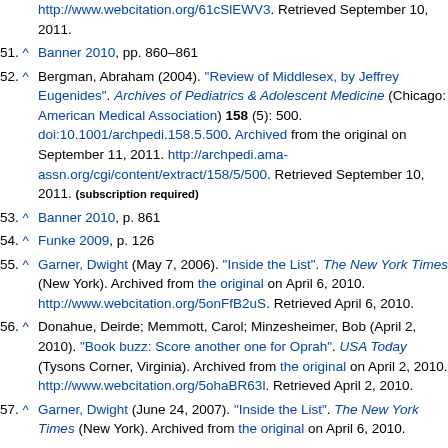(partial top) http://www.webcitation.org/61cSlEWV3. Retrieved September 10, 2011.
51. ^ Banner 2010, pp. 860–861
52. ^ Bergman, Abraham (2004). "Review of Middlesex, by Jeffrey Eugenides". Archives of Pediatrics & Adolescent Medicine (Chicago: American Medical Association) 158 (5): 500. doi:10.1001/archpedi.158.5.500. Archived from the original on September 11, 2011. http://archpedi.ama-assn.org/cgi/content/extract/158/5/500. Retrieved September 10, 2011. (subscription required)
53. ^ Banner 2010, p. 861
54. ^ Funke 2009, p. 126
55. ^ Garner, Dwight (May 7, 2006). "Inside the List". The New York Times (New York). Archived from the original on April 6, 2010. http://www.webcitation.org/5onFfB2uS. Retrieved April 6, 2010.
56. ^ Donahue, Deirde; Memmott, Carol; Minzesheimer, Bob (April 2, 2010). "Book buzz: Score another one for Oprah". USA Today (Tysons Corner, Virginia). Archived from the original on April 2, 2010. http://www.webcitation.org/5ohaBR63l. Retrieved April 2, 2010.
57. ^ Garner, Dwight (June 24, 2007). "Inside the List". The New York Times (New York). Archived from the original on April 6, 2010.